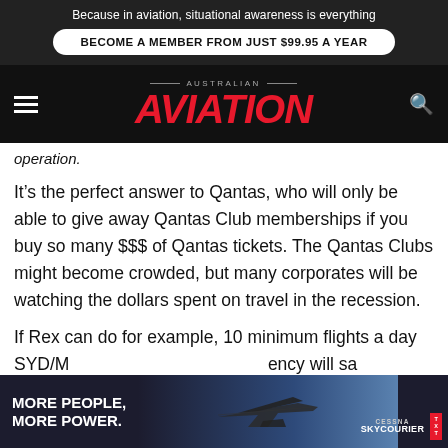Because in aviation, situational awareness is everything
BECOME A MEMBER FROM JUST $99.95 A YEAR
AUSTRALIAN AVIATION
operation.
It's the perfect answer to Qantas, who will only be able to give away Qantas Club memberships if you buy so many $$$ of Qantas tickets. The Qantas Clubs might become crowded, but many corporates will be watching the dollars spent on travel in the recession.
If Rex can do for example, 10 minimum flights a day SYD/M... ency will sa... raft
[Figure (screenshot): Cessna SkyCourier advertisement overlay with plane silhouette and branding. Text reads: MORE PEOPLE. MORE POWER. CESSNA SKYCOURIER logo.]